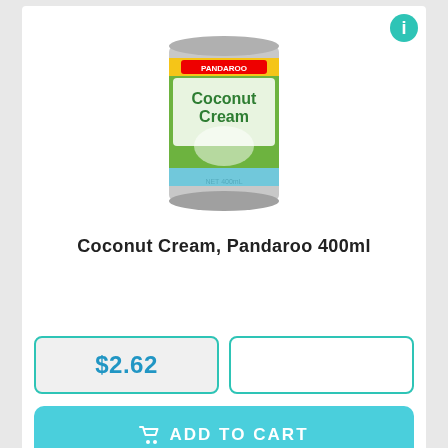[Figure (photo): Can of Pandaroo Coconut Cream 400ml product]
Coconut Cream, Pandaroo 400ml
$2.62
ADD TO CART
[Figure (photo): Partially visible second product image at bottom of page]